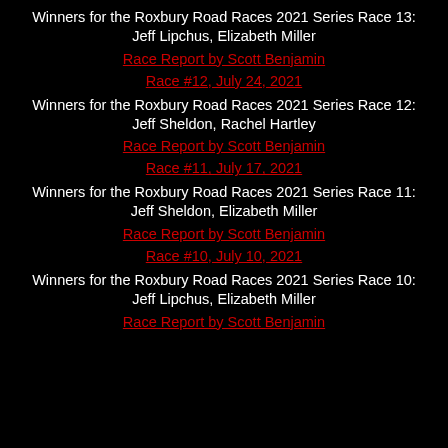Winners for the Roxbury Road Races 2021 Series Race 13: Jeff Lipchus, Elizabeth Miller
Race Report by Scott Benjamin
Race #12, July 24, 2021
Winners for the Roxbury Road Races 2021 Series Race 12: Jeff Sheldon, Rachel Hartley
Race Report by Scott Benjamin
Race #11, July 17, 2021
Winners for the Roxbury Road Races 2021 Series Race 11: Jeff Sheldon, Elizabeth Miller
Race Report by Scott Benjamin
Race #10, July 10, 2021
Winners for the Roxbury Road Races 2021 Series Race 10: Jeff Lipchus, Elizabeth Miller
Race Report by Scott Benjamin